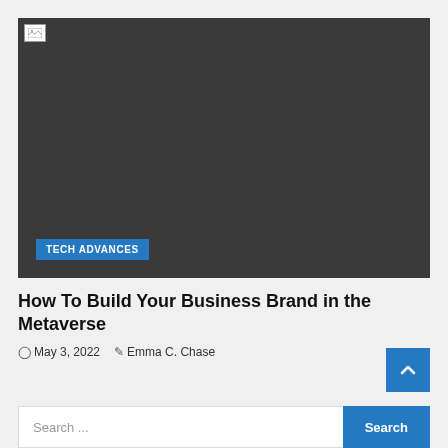[Figure (photo): Dark gray placeholder image with broken image icon in top-left corner and a blue 'TECH ADVANCES' category badge in the bottom-left]
How To Build Your Business Brand in the Metaverse
May 3, 2022  Emma C. Chase